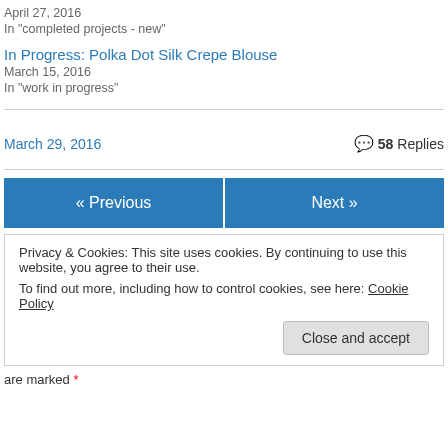April 27, 2016
In "completed projects - new"
In Progress: Polka Dot Silk Crepe Blouse
March 15, 2016
In "work in progress"
March 29, 2016   58 Replies
« Previous   Next »
Privacy & Cookies: This site uses cookies. By continuing to use this website, you agree to their use. To find out more, including how to control cookies, see here: Cookie Policy
Close and accept
are marked *